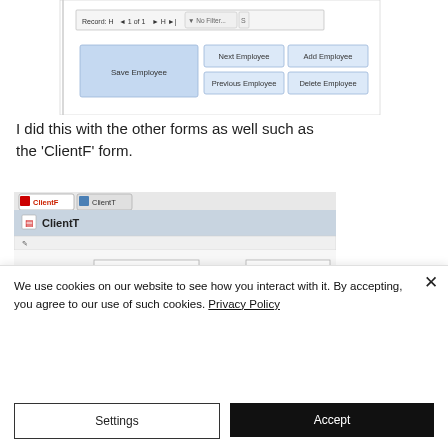[Figure (screenshot): Microsoft Access form designer screenshot showing navigation bar with 'Record: 1 of 1' and navigation buttons, and form buttons: Save Employee, Next Employee, Add Employee, Previous Employee, Delete Employee]
I did this with the other forms as well such as the 'ClientF' form.
[Figure (screenshot): Microsoft Access ClientT form showing fields: FirstName: John, LastName: Hampton, Gender: Male (dropdown), Phone: 01438275835, CompanyName: IT4U. Tabs show ClientF and ClientT.]
We use cookies on our website to see how you interact with it. By accepting, you agree to our use of such cookies. Privacy Policy
Settings
Accept